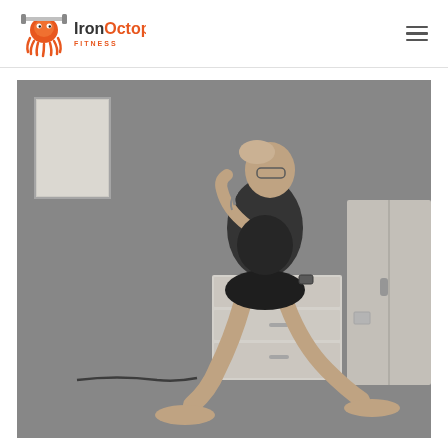IronOctopus Fitness
[Figure (photo): Black and white photograph of a woman performing a lunge exercise in a room. She is wearing a black tank top and shorts, with tattoos visible on her arm. She has her hair up and is wearing glasses. The room has a dresser/chest of drawers and a wardrobe cabinet visible in the background. The woman is in a deep lunge position with her back knee near the floor.]